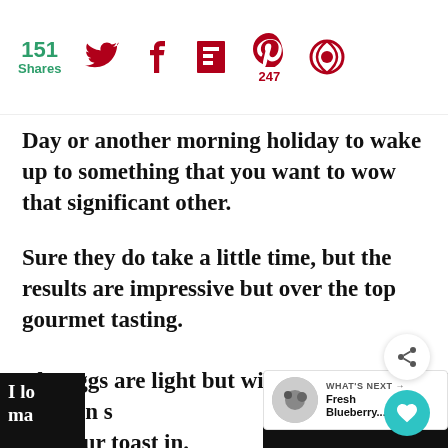151 Shares | Social share icons: Twitter, Facebook, Flipboard, Pinterest (247), other
Day or another morning holiday to wake up to something that you want to wow that significant other.
Sure they do take a little time, but the results are impressive but over the top gourmet tasting.
The eggs are light but with a warm yolk, you can s dip your toast in.
[Figure (infographic): WHAT'S NEXT arrow label with thumbnail image and text 'Fresh Blueberry...']
I lo ma
ple but